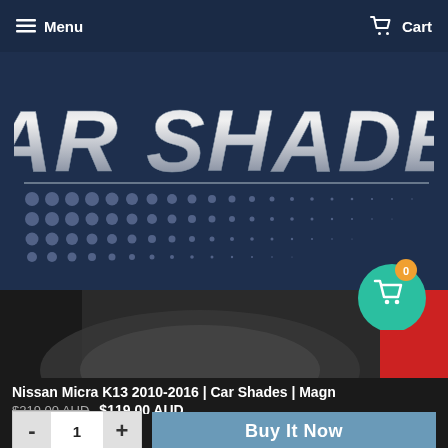Menu   Cart
[Figure (logo): Car Shades logo on dark navy blue background with metallic silver italic text 'CAR SHADES' and a halftone dot pattern strip below]
[Figure (photo): Product image strip showing car window shade installed in a vehicle, with dark interior and red accent visible]
Nissan Micra K13 2010-2016 | Car Shades | Magn
$219.00 AUD  $119.00 AUD
- 1 +  Buy It Now